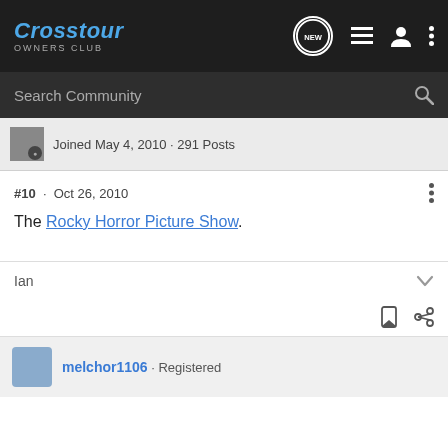Crosstour OWNERS CLUB
Search Community
Joined May 4, 2010 · 291 Posts
#10 · Oct 26, 2010
The Rocky Horror Picture Show.
Ian
melchor1106 · Registered